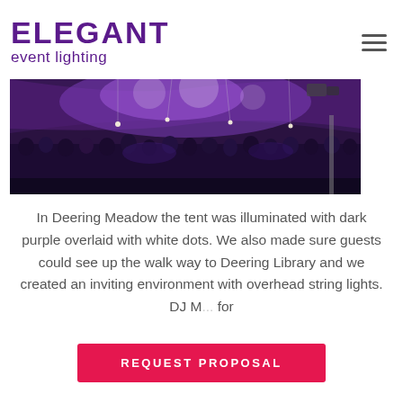[Figure (logo): Elegant Event Lighting logo with purple stylized text]
[Figure (photo): Event tent illuminated with dark purple lighting and white dots, crowded with guests underneath a large tent canopy with string lights]
In Deering Meadow the tent was illuminated with dark purple overlaid with white dots. We also made sure guests could see up the walk way to Deering Library and we created an inviting environment with overhead string lights. DJ M... for
[Figure (other): REQUEST PROPOSAL button in pink/red]